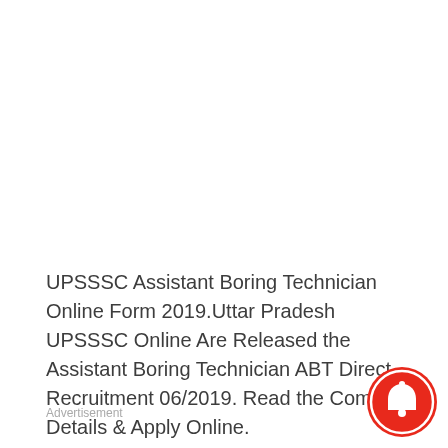UPSSSC Assistant Boring Technician Online Form 2019.Uttar Pradesh UPSSSC Online Are Released the Assistant Boring Technician ABT Direct Recruitment 06/2019. Read the Complete Details & Apply Online.
Advertisement